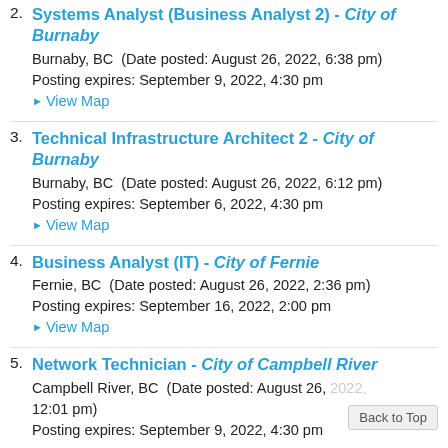2. Systems Analyst (Business Analyst 2) - City of Burnaby
Burnaby, BC  (Date posted: August 26, 2022, 6:38 pm)
Posting expires: September 9, 2022, 4:30 pm
▶ View Map
3. Technical Infrastructure Architect 2 - City of Burnaby
Burnaby, BC  (Date posted: August 26, 2022, 6:12 pm)
Posting expires: September 6, 2022, 4:30 pm
▶ View Map
4. Business Analyst (IT) - City of Fernie
Fernie, BC  (Date posted: August 26, 2022, 2:36 pm)
Posting expires: September 16, 2022, 2:00 pm
▶ View Map
5. Network Technician - City of Campbell River
Campbell River, BC  (Date posted: August 26, 2022, 12:01 pm)
Posting expires: September 9, 2022, 4:30 pm